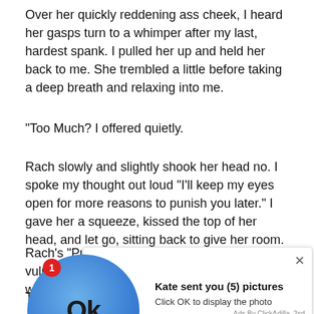Over her quickly reddening ass cheek, I heard her gasps turn to a whimper after my last, hardest spank. I pulled her up and held her back to me. She trembled a little before taking a deep breath and relaxing into me.
“Too Much? I offered quietly.
Rach slowly and slightly shook her head no. I spoke my thought out loud “I’ll keep my eyes open for more reasons to punish you later.” I gave her a squeeze, kissed the top of her head, and let go, sitting back to give her room.
Rach’s “Pull it out for me?” was so cute and vulnerable I had to resist the urge to replace it with the real thing.
The 4 or so inches of dildo available, made an easy hold, which was for... tight. I... mesme... out, un... dripping from her slit onto Sharon’s bed.
[Figure (other): Ad overlay: circular blue OK button with red badge notification (1), beside text 'Kate sent you (5) pictures' and 'Click OK to display the photo'. Close button (X) in corner. Footer: 'Ads By ClickAdilla  2sd']